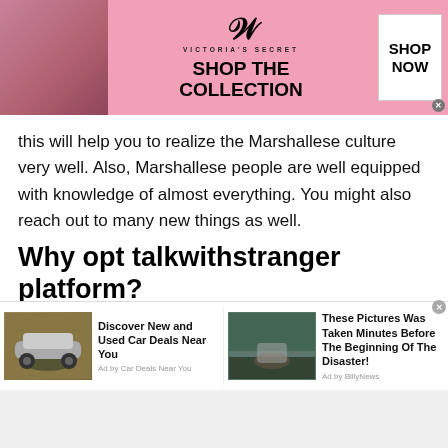[Figure (other): Victoria's Secret advertisement banner with a woman model on the left, VS logo and 'VICTORIA'S SECRET' text in center, 'SHOP THE COLLECTION' text, and a 'SHOP NOW' button on the right, pink background.]
this will help you to realize the Marshallese culture very well. Also, Marshallese people are well equipped with knowledge of almost everything. You might also reach out to many new things as well.
Why opt talkwithstranger platform?
Online places like Talkwithstranger come up with many unique yet intriguing features. These features
[Figure (other): Two advertisement blocks side by side at the bottom. Left: 'Discover New and Used Car Deals Near You' ad by Car Deals Near You with SUV image. Right: 'These Pictures Was Taken Minutes Before The Beginning Of The Disaster!' ad by BillyNews with a river crossing image.]